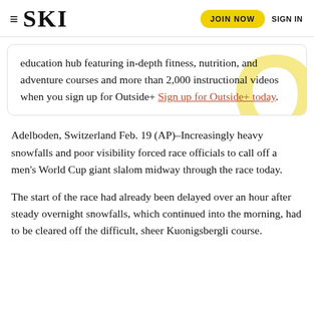≡ SKI  JOIN NOW  SIGN IN
education hub featuring in-depth fitness, nutrition, and adventure courses and more than 2,000 instructional videos when you sign up for Outside+ Sign up for Outside+ today.
Adelboden, Switzerland Feb. 19 (AP)–Increasingly heavy snowfalls and poor visibility forced race officials to call off a men's World Cup giant slalom midway through the race today.
The start of the race had already been delayed over an hour after steady overnight snowfalls, which continued into the morning, had to be cleared off the difficult, sheer Kuonigsbergli course.